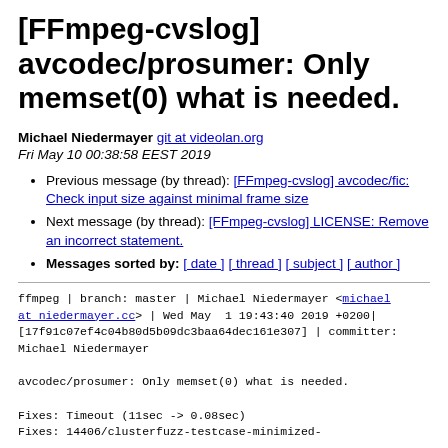[FFmpeg-cvslog] avcodec/prosumer: Only memset(0) what is needed.
Michael Niedermayer git at videolan.org
Fri May 10 00:38:58 EEST 2019
Previous message (by thread): [FFmpeg-cvslog] avcodec/fic: Check input size against minimal frame size
Next message (by thread): [FFmpeg-cvslog] LICENSE: Remove an incorrect statement.
Messages sorted by: [ date ] [ thread ] [ subject ] [ author ]
ffmpeg | branch: master | Michael Niedermayer <michael at niedermayer.cc> | Wed May  1 19:43:40 2019 +0200|
[17f91c07ef4c04b80d5b09dc3baa64dec161e307] | committer: Michael Niedermayer

avcodec/prosumer: Only memset(0) what is needed.

Fixes: Timeout (11sec -> 0.08sec)
Fixes: 14406/clusterfuzz-testcase-minimized-